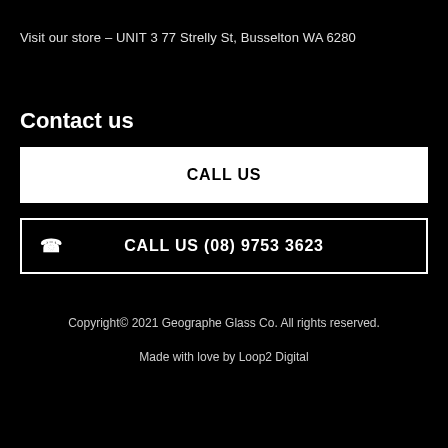Visit our store – UNIT 3 77 Strelly St, Busselton WA 6280
Contact us
CALL US
CALL US (08) 9753 3623
Copyright© 2021 Geographe Glass Co. All rights reserved.
Made with love by Loop2 Digital